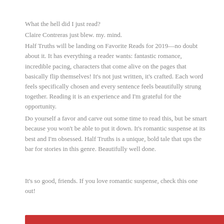What the hell did I just read?
Claire Contreras just blew. my. mind.
Half Truths will be landing on Favorite Reads for 2019—no doubt about it. It has everything a reader wants: fantastic romance, incredible pacing, characters that come alive on the pages that basically flip themselves! It's not just written, it's crafted. Each word feels specifically chosen and every sentence feels beautifully strung together. Reading it is an experience and I'm grateful for the opportunity.
Do yourself a favor and carve out some time to read this, but be smart because you won't be able to put it down. It's romantic suspense at its best and I'm obsessed. Half Truths is a unique, bold tale that ups the bar for stories in this genre. Beautifully well done.
It's so good, friends. If you love romantic suspense, check this one out!